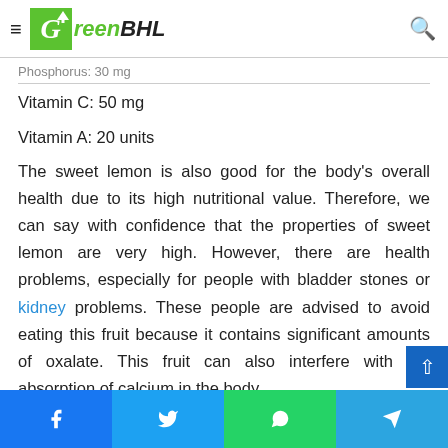GreenBHL
Vitamin C: 50 mg
Vitamin A: 20 units
The sweet lemon is also good for the body's overall health due to its high nutritional value. Therefore, we can say with confidence that the properties of sweet lemon are very high. However, there are health problems, especially for people with bladder stones or kidney problems. These people are advised to avoid eating this fruit because it contains significant amounts of oxalate. This fruit can also interfere with the absorption of calcium in the body.
Facebook | Twitter | WhatsApp | Telegram